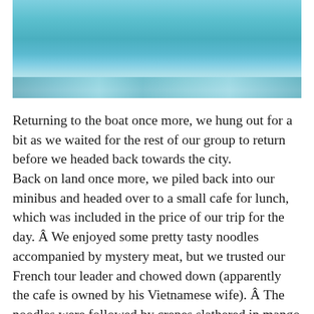[Figure (photo): Underwater or aquatic scene with blue/teal water tones, partially visible at the top of the page]
Returning to the boat once more, we hung out for a bit as we waited for the rest of our group to return before we headed back towards the city. Back on land once more, we piled back into our minibus and headed over to a small cafe for lunch, which was included in the price of our trip for the day. Â We enjoyed some pretty tasty noodles accompanied by mystery meat, but we trusted our French tour leader and chowed down (apparently the cafe is owned by his Vietnamese wife). Â The noodles were followed by crepes slathered in mango sauce for dessert, which were delicious if a bit too saucy. Â We also chatted with Natalie about her traveling adventures throughout Asia, which was a nice change from our usual mealtime discussions of